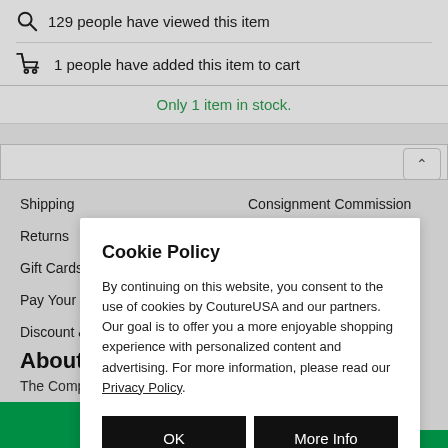129 people have viewed this item
1 people have added this item to cart
Only 1 item in stock.
Shipping
Returns
Gift Cards
Pay Your Layaway
Discount & Offers
Consignment Commission
Shipping Your Item
About Us
The Company
Cookie Policy
By continuing on this website, you consent to the use of cookies by CoutureUSA and our partners. Our goal is to offer you a more enjoyable shopping experience with personalized content and advertising. For more information, please read our Privacy Policy.
OK
More Info